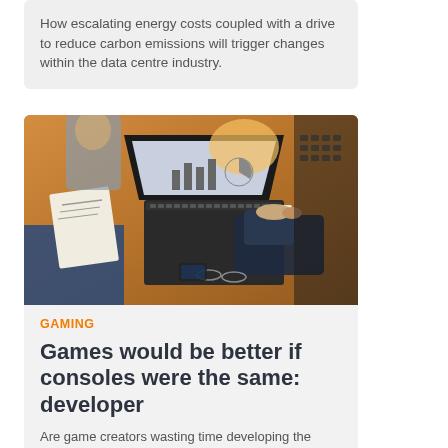How escalating energy costs coupled with a drive to reduce carbon emissions will trigger changes within the data centre industry.
[Figure (photo): Business professionals sitting around a wooden table with a laptop open showing charts; hands visible typing and holding documents.]
GAMING
Games would be better if consoles were the same: developer
Are game creators wasting time developing the same game for...